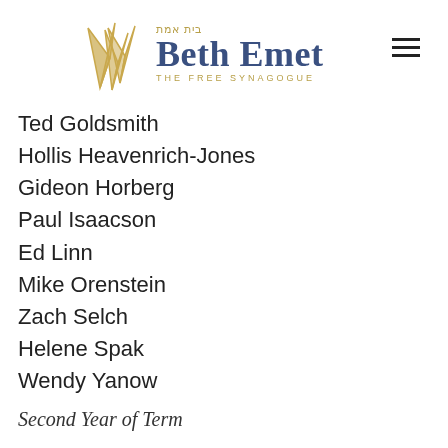Beth Emet The Free Synagogue
Ted Goldsmith
Hollis Heavenrich-Jones
Gideon Horberg
Paul Isaacson
Ed Linn
Mike Orenstein
Zach Selch
Helene Spak
Wendy Yanow
Second Year of Term